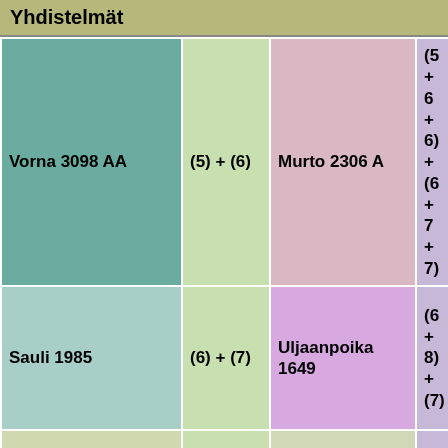Yhdistelmät
| Col1 | Col2 | Col3 | Col4 | Col5 |
| --- | --- | --- | --- | --- |
| Vorna 3098 AA | (5) + (6) | Murto 2306 A | (5 + 6 + 6) + (6 + 7 + 7) | Oppipoika 2154 |
| Sauli 1985 | (6) + (7) | Uljaanpoika 1649 | (6 + 8) + (7) | Hilpuri 73 |
| Einon-Tähti | (7) + | Sopusointu | (7 + 7) |  |